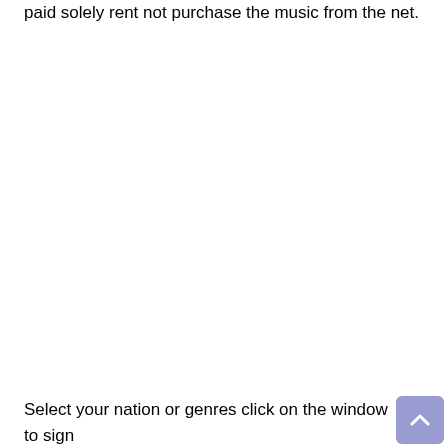paid solely rent not purchase the music from the net.
Select your nation or genres click on the window to sign